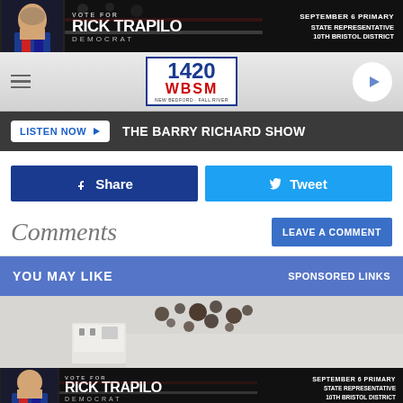[Figure (other): Political campaign advertisement banner for Rick Trapilo, Democrat, Vote For Rick Trapilo, September 6 Primary, State Representative 10th Bristol District]
[Figure (logo): 1420 WBSM radio station logo with navigation hamburger menu and play button]
LISTEN NOW ▶  THE BARRY RICHARD SHOW
Share
Tweet
Comments
LEAVE A COMMENT
YOU MAY LIKE
SPONSORED LINKS
[Figure (photo): Photo showing mold or dark spots on a wall near an electrical outlet]
[Figure (other): Political campaign advertisement banner for Rick Trapilo, Democrat, Vote For Rick Trapilo, September 6 Primary, State Representative 10th Bristol District]